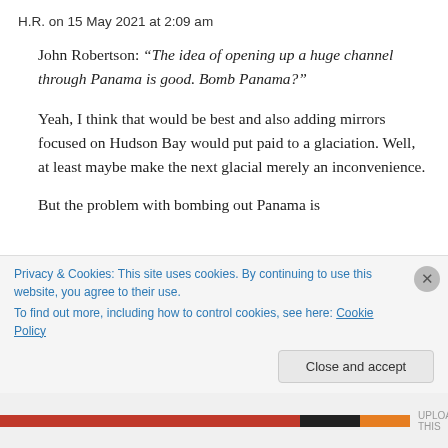H.R. on 15 May 2021 at 2:09 am
John Robertson: “The idea of opening up a huge channel through Panama is good. Bomb Panama?”
Yeah, I think that would be best and also adding mirrors focused on Hudson Bay would put paid to a glaciation. Well, at least maybe make the next glacial merely an inconvenience.
But the problem with bombing out Panama is
Privacy & Cookies: This site uses cookies. By continuing to use this website, you agree to their use.
To find out more, including how to control cookies, see here: Cookie Policy
Close and accept